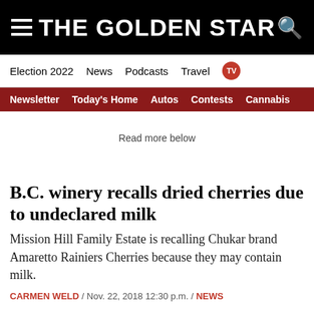THE GOLDEN STAR
Election 2022  News  Podcasts  Travel  TV
Newsletter  Today's Home  Autos  Contests  Cannabis
Read more below
B.C. winery recalls dried cherries due to undeclared milk
Mission Hill Family Estate is recalling Chukar brand Amaretto Rainiers Cherries because they may contain milk.
CARMEN WELD / Nov. 22, 2018 12:30 p.m. / NEWS